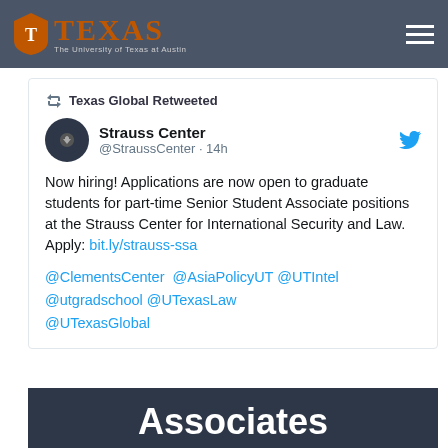TEXAS - The University of Texas at Austin
Texas Global Retweeted
Strauss Center @StraussCenter · 14h
Now hiring! Applications are now open to graduate students for part-time Senior Student Associate positions at the Strauss Center for International Security and Law. Apply: bit.ly/strauss-ssa
@ClementsCenter  @AsiaPolicyUT @UTIntel @utgradschool @UTexasLaw @UTexasGlobal
Associates
Part-time Graduate Student Positions Available